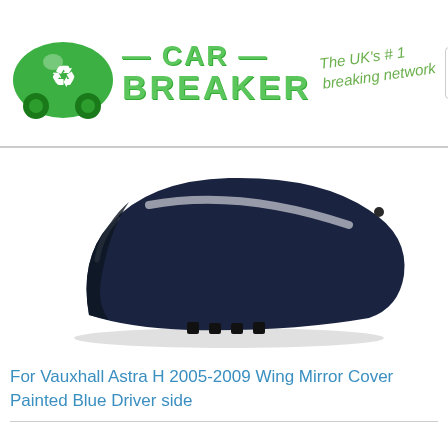[Figure (logo): Car Breaker logo with green car recycling icon and green text '— CAR — BREAKER' with tagline 'The UK's #1 breaking network' and hamburger menu icon]
[Figure (photo): Dark navy blue painted wing mirror cover for Vauxhall Astra H, showing the outer shell with mounting clips, photographed on white background]
For Vauxhall Astra H 2005-2009 Wing Mirror Cover Painted Blue Driver side